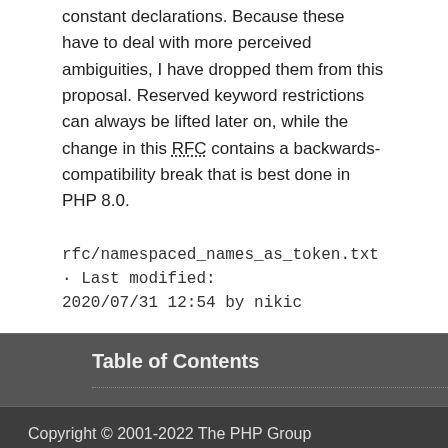constant declarations. Because these have to deal with more perceived ambiguities, I have dropped them from this proposal. Reserved keyword restrictions can always be lifted later on, while the change in this RFC contains a backwards-compatibility break that is best done in PHP 8.0.
rfc/namespaced_names_as_token.txt · Last modified: 2020/07/31 12:54 by nikic
Table of Contents
Copyright © 2001-2022 The PHP Group
Other PHP.net sites    Privacy policy